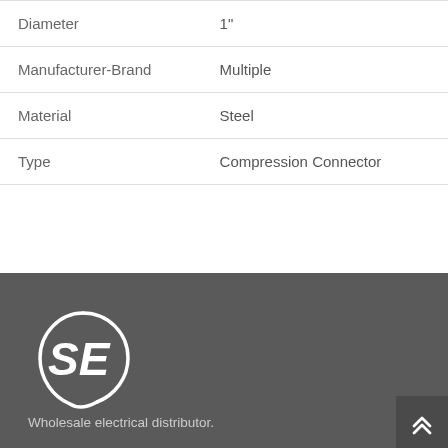| Diameter | 1" |
| Manufacturer-Brand | Multiple |
| Material | Steel |
| Type | Compression Connector |
[Figure (logo): SE logo — stylized letters SE inside a circular swoosh, white on dark gray background]
Wholesale electrical distributor.